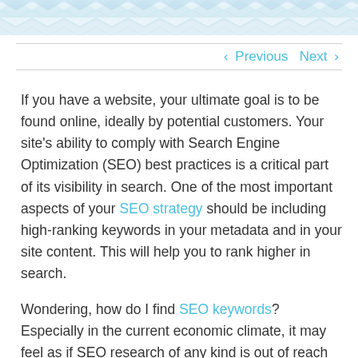[Figure (other): Decorative chevron/zigzag pattern header banner in light blue and white]
< Previous   Next >
If you have a website, your ultimate goal is to be found online, ideally by potential customers. Your site's ability to comply with Search Engine Optimization (SEO) best practices is a critical part of its visibility in search. One of the most important aspects of your SEO strategy should be including high-ranking keywords in your metadata and in your site content. This will help you to rank higher in search.
Wondering, how do I find SEO keywords? Especially in the current economic climate, it may feel as if SEO research of any kind is out of reach or simply too expensive. Fortunately, you can try these DIY